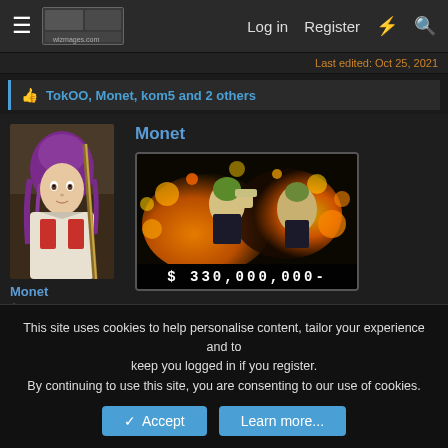Log in  Register
Last edited: Oct 25, 2021
👍 TokOO, Monet, kom5 and 2 others
Monet
[Figure (screenshot): Game card screenshot showing a character with fire effects and the price $ 330,000,000-]
Oct 26, 2021
#2,376
This site uses cookies to help personalise content, tailor your experience and to keep you logged in if you register.
By continuing to use this site, you are consenting to our use of cookies.